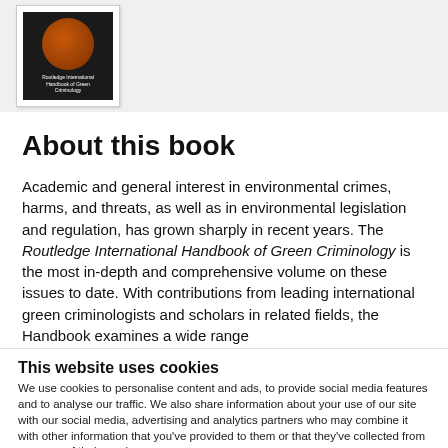[Figure (illustration): Book cover of Routledge International Handbook of Green Criminology, dark background with orange circular graphic]
About this book
Academic and general interest in environmental crimes, harms, and threats, as well as in environmental legislation and regulation, has grown sharply in recent years. The Routledge International Handbook of Green Criminology is the most in-depth and comprehensive volume on these issues to date. With contributions from leading international green criminologists and scholars in related fields, the Handbook examines a wide range
This website uses cookies
We use cookies to personalise content and ads, to provide social media features and to analyse our traffic. We also share information about your use of our site with our social media, advertising and analytics partners who may combine it with other information that you've provided to them or that they've collected from your use of their services.
Allow all cookies
Allow selection